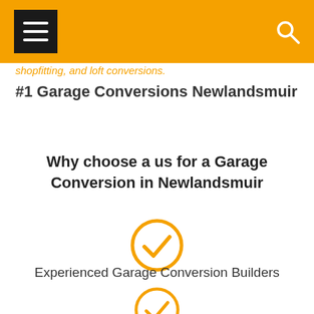shopfitting, and loft conversions.
#1 Garage Conversions Newlandsmuir
Why choose a us for a Garage Conversion in Newlandsmuir
[Figure (illustration): Orange circle with checkmark icon]
Experienced Garage Conversion Builders
[Figure (illustration): Orange circle with checkmark icon]